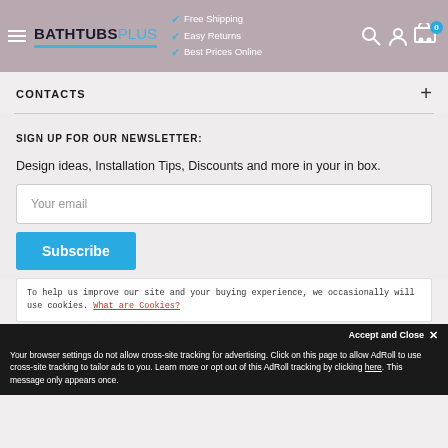[Figure (screenshot): BathtubsPlus website header with logo, checkmarks for Free Shipping, Easy Returns, Best Prices Online, and navigation icons]
CONTACTS
SIGN UP FOR OUR NEWSLETTER:
Design ideas, Installation Tips, Discounts and more in your in box.
Your email
Subscribe
To help us improve our site and your buying experience, we occasionally will use cookies. What are Cookies?
Accept and Close ✕
Your browser settings do not allow cross-site tracking for advertising. Click on this page to allow AdRoll to use cross-site tracking to tailor ads to you. Learn more or opt out of this AdRoll tracking by clicking here. This message only appears once.